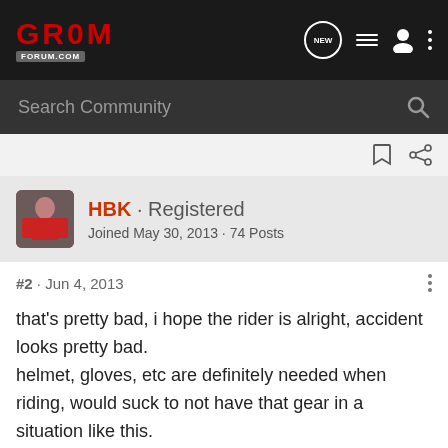GROM FORUM.COM
Search Community
HBK · Registered
Joined May 30, 2013 · 74 Posts
#2 · Jun 4, 2013
that's pretty bad, i hope the rider is alright, accident looks pretty bad.
helmet, gloves, etc are definitely needed when riding, would suck to not have that gear in a situation like this.